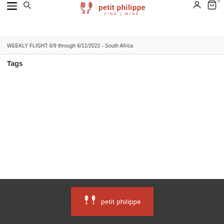petit philippe fine wine — navigation header with hamburger menu, search, user icon, cart (0)
WEEKLY FLIGHT 6/9 through 6/11/2022 - South Africa
Tags
[Figure (logo): Petit Philippe Fine Wine logo on red background in footer]
Petit Philippe Fine Wine footer logo